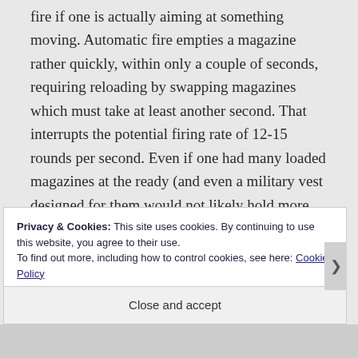fire if one is actually aiming at something moving. Automatic fire empties a magazine rather quickly, within only a couple of seconds, requiring reloading by swapping magazines which must take at least another second. That interrupts the potential firing rate of 12-15 rounds per second. Even if one had many loaded magazines at the ready (and even a military vest designed for them would not likely hold more than a dozen or so), and they were ganged in pairs containing up to 60 rounds
Privacy & Cookies: This site uses cookies. By continuing to use this website, you agree to their use.
To find out more, including how to control cookies, see here: Cookie Policy
Close and accept